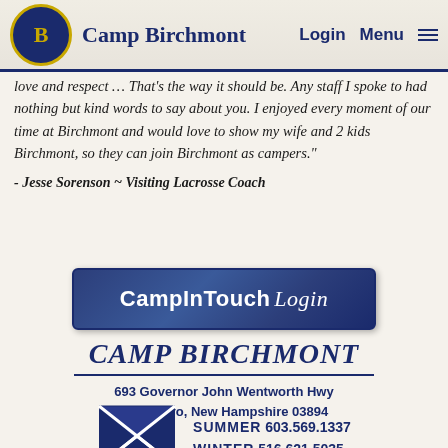Camp Birchmont | Login | Menu
love and respect … That's the way it should be. Any staff I spoke to had nothing but kind words to say about you. I enjoyed every moment of our time at Birchmont and would love to show my wife and 2 kids Birchmont, so they can join Birchmont as campers."
- Jesse Sorenson ~ Visiting Lacrosse Coach
[Figure (other): CampInTouch Login button with navy blue textured background]
[Figure (logo): Camp Birchmont handwritten-style logo in navy blue italic text]
693 Governor John Wentworth Hwy
Wolfeboro, New Hampshire 03894
[Figure (other): Navy blue envelope/mail icon with X pattern]
SUMMER 603.569.1337
WINTER 516.621.5035